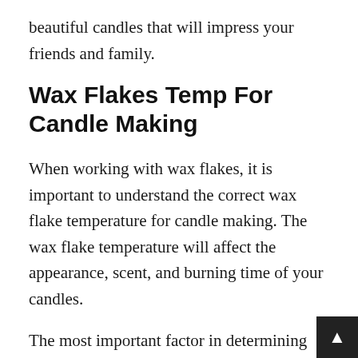beautiful candles that will impress your friends and family.
Wax Flakes Temp For Candle Making
When working with wax flakes, it is important to understand the correct wax flake temperature for candle making. The wax flake temperature will affect the appearance, scent, and burning time of your candles.
The most important factor in determining the wax flake temperature for candle making is the type of wax that you are using. Different types of wax ha…